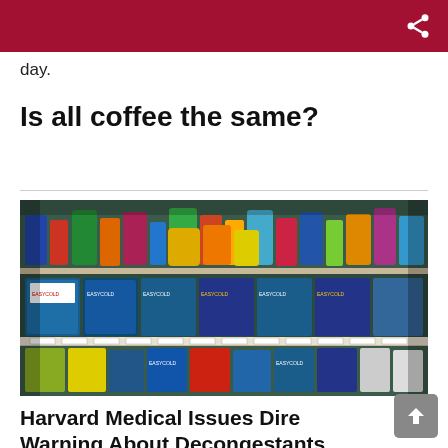day.
Is all coffee the same?
[Figure (photo): Pharmacy store shelves stocked with various over-the-counter medications and cold remedies including EastCold branded products in colorful boxes and bottles]
Harvard Medical Issues Dire Warning About Decongestants
How the 'rebound effect' from these sprays